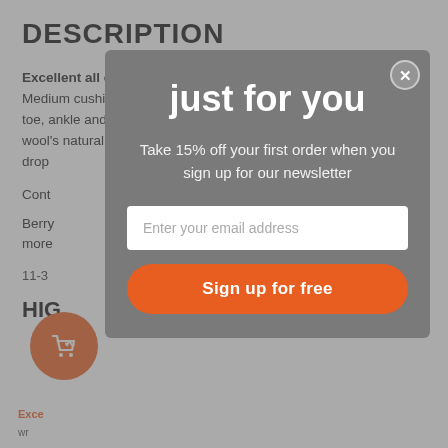DESCRIPTION
Excellent all climate versatile fast-drying merino wool sock. Medium cushion surrounds entire foot and leg, reinforced heel and toe, ankle and arch support. 37.5 active particles supercharge wool's natural abilities by attracting... drop...
Cont...
Berry... more...
11-3...
HIG...
[Figure (other): Orange shopping cart with heart icon, circular button]
Exce... wr...
[Figure (screenshot): Modal popup overlay with newsletter signup. Heading: just for you. Subtext: Take 15% off your first order when you sign up for our newsletter. Email input field placeholder: Enter your email address. Button: Sign up for free.]